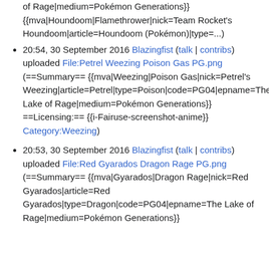of Rage|medium=Pokémon Generations}} {{mva|Houndoom|Flamethrower|nick=Team Rocket's Houndoom|article=Houndoom (Pokémon)|type=...)
20:54, 30 September 2016 Blazingfist (talk | contribs) uploaded File:Petrel Weezing Poison Gas PG.png (==Summary== {{mva|Weezing|Poison Gas|nick=Petrel's Weezing|article=Petrel|type=Poison|code=PG04|epname=The Lake of Rage|medium=Pokémon Generations}} ==Licensing:== {{i-Fairuse-screenshot-anime}} Category:Weezing)
20:53, 30 September 2016 Blazingfist (talk | contribs) uploaded File:Red Gyarados Dragon Rage PG.png (==Summary== {{mva|Gyarados|Dragon Rage|nick=Red Gyarados|article=Red Gyarados|type=Dragon|code=PG04|epname=The Lake of Rage|medium=Pokémon Generations}}